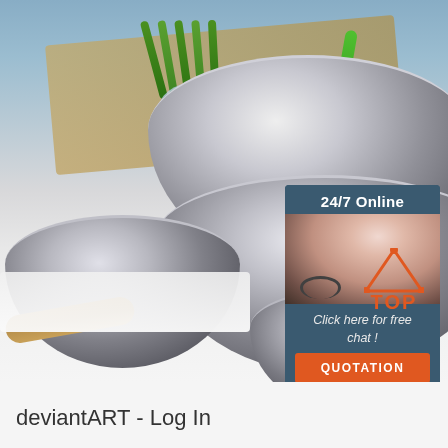[Figure (photo): Product photo of multiple stainless steel mixing bowls arranged on a kitchen counter with green onions, pepper, tomato, eggs, and kitchen utensils in the background. A customer service chat widget overlay in the top-right shows '24/7 Online', a woman with a headset, 'Click here for free chat!', and an orange 'QUOTATION' button. A red/orange 'TOP' logo with triangle icon appears at bottom-right.]
deviantART - Log In